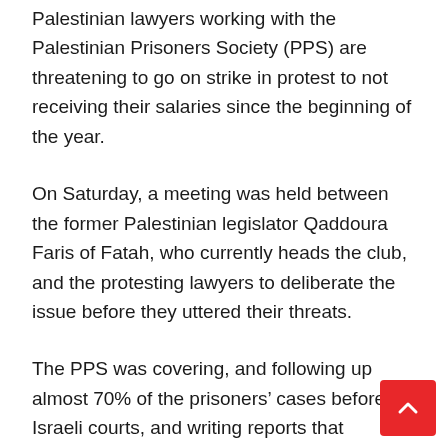Palestinian lawyers working with the Palestinian Prisoners Society (PPS) are threatening to go on strike in protest to not receiving their salaries since the beginning of the year.
On Saturday, a meeting was held between the former Palestinian legislator Qaddoura Faris of Fatah, who currently heads the club, and the protesting lawyers to deliberate the issue before they uttered their threats.
The PPS was covering, and following up almost 70% of the prisoners’ cases before Israeli courts, and writing reports that exposes the Israeli illegal practices against them.
Moreover, the international Tadamun (solidarity)